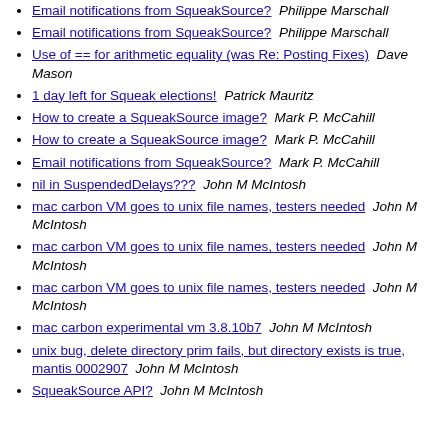Email notifications from SqueakSource?  Philippe Marschall
Email notifications from SqueakSource?  Philippe Marschall
Use of == for arithmetic equality (was Re: Posting Fixes)  Dave Mason
1 day left for Squeak elections!  Patrick Mauritz
How to create a SqueakSource image?  Mark P. McCahill
How to create a SqueakSource image?  Mark P. McCahill
Email notifications from SqueakSource?  Mark P. McCahill
nil in SuspendedDelays???  John M McIntosh
mac carbon VM goes to unix file names, testers needed  John M McIntosh
mac carbon VM goes to unix file names, testers needed  John M McIntosh
mac carbon VM goes to unix file names, testers needed  John M McIntosh
mac carbon experimental vm 3.8.10b7  John M McIntosh
unix bug, delete directory prim fails, but directory exists is true, mantis 0002907  John M McIntosh
SqueakSource API?  John M McIntosh